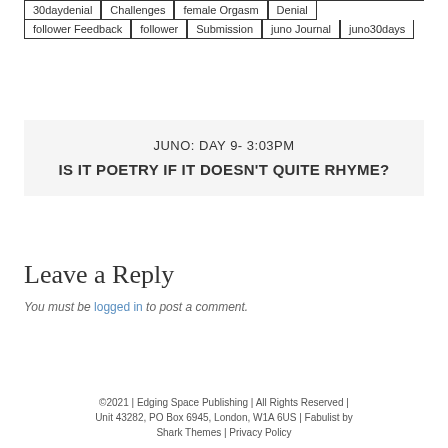30daydenial
Challenges
female Orgasm
Denial
follower Feedback
follower
Submission
juno Journal
juno30days
JUNO: DAY 9- 3:03PM
IS IT POETRY IF IT DOESN'T QUITE RHYME?
Leave a Reply
You must be logged in to post a comment.
©2021 | Edging Space Publishing | All Rights Reserved | Unit 43282, PO Box 6945, London, W1A 6US | Fabulist by Shark Themes | Privacy Policy